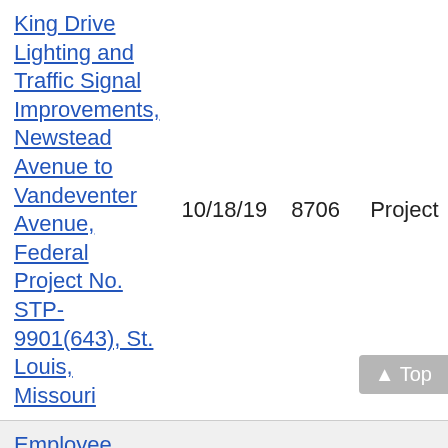| Project | Date | Number | Type |
| --- | --- | --- | --- |
| King Drive Lighting and Traffic Signal Improvements, Newstead Avenue to Vandeventer Avenue, Federal Project No. STP-9901(643), St. Louis, Missouri | 10/18/19 | 8706 | Project |
| Employee Parking Lot Fence and Gates Installation at City of St Louis Water Div | 10/02/18 | 8675 | Project |
| Employee Parking Lot Fence and Gates Installation at St. Louis City Water Division | 05/14/19 | 8695 | Project |
| EOC/AOC Host Space |  |  |  |